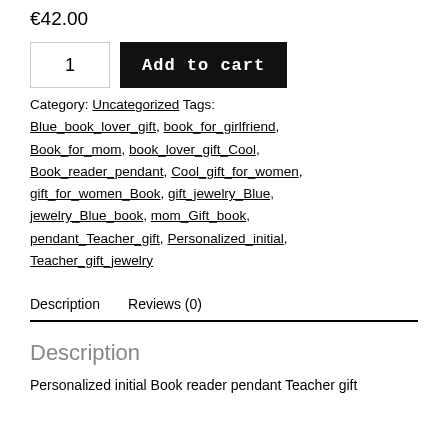€42.00
1   Add to cart
Category: Uncategorized  Tags: Blue_book_lover_gift, book_for_girlfriend, Book_for_mom, book_lover_gift_Cool, Book_reader_pendant, Cool_gift_for_women, gift_for_women_Book, gift_jewelry_Blue, jewelry_Blue_book, mom_Gift_book, pendant_Teacher_gift, Personalized_initial, Teacher_gift_jewelry
Description
Reviews (0)
Description
Personalized initial Book reader pendant Teacher gift